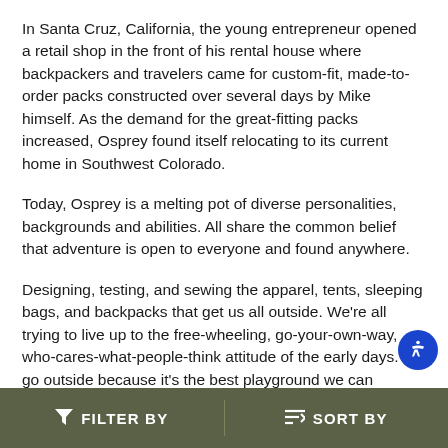In Santa Cruz, California, the young entrepreneur opened a retail shop in the front of his rental house where backpackers and travelers came for custom-fit, made-to-order packs constructed over several days by Mike himself. As the demand for the great-fitting packs increased, Osprey found itself relocating to its current home in Southwest Colorado.
Today, Osprey is a melting pot of diverse personalities, backgrounds and abilities. All share the common belief that adventure is open to everyone and found anywhere.
Designing, testing, and sewing the apparel, tents, sleeping bags, and backpacks that get us all outside. We're all trying to live up to the free-wheeling, go-your-own-way, who-cares-what-people-think attitude of the early days. We go outside because it's the best playground we can imagine. It's a place to be creative, express yourself, and escape from the
FILTER BY   SORT BY